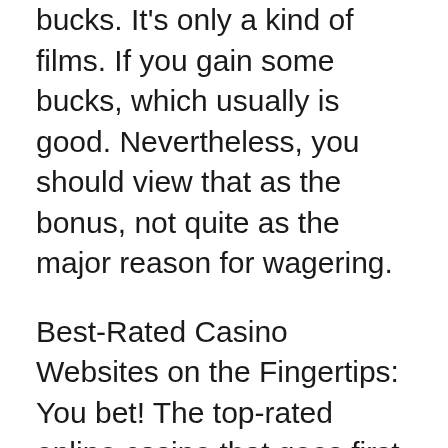bucks. It's only a kind of films. If you gain some bucks, which usually is good. Nevertheless, you should view that as the bonus, not quite as the major reason for wagering.
Best-Rated Casino Websites on the Fingertips: You bet! The top-rated online casino that goes first the particular list is usually that of Yellow. Golden casino is reputed to are the most highly ranked, top and extremely famous one of the online players. One would love to head for the crooks to due for the high pay-outs they will provide at when ever. The pay-outs they furnish are too good and too big to be handled by you. The Golden Casino is run by the software of the Vegas Hi-tech.